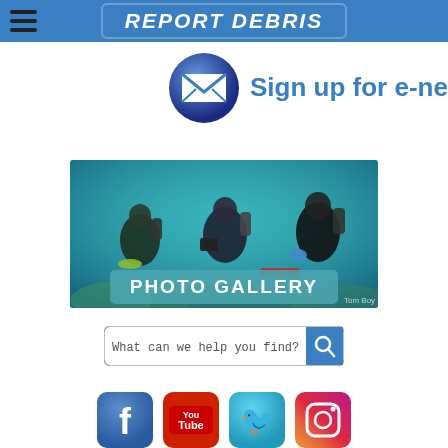REPORT DEBRIS
[Figure (logo): Email envelope icon (dark blue circular button with white envelope icon)]
Sign up for e-news
[Figure (photo): Underwater photo of scuba divers cleaning reef, with a teal banner overlay reading PHOTO GALLERY, credited to Tom Boyden]
[Figure (screenshot): Search bar with placeholder text 'What can we help you find?' and a blue search button]
[Figure (logo): Social media icons: Facebook, YouTube, Twitter, Instagram]